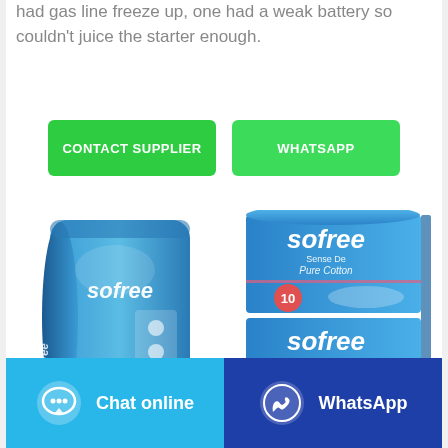had gas line freeze up, one had a weak battery so couldn't juice the starter enough.
[Figure (screenshot): Two green buttons: 'CONTACT SUPPLIER' and 'WHATSAPP']
[Figure (photo): Sofree brand sanitary pad product - blue pouch packaging]
[Figure (photo): Sofree brand sanitary pad product - Pure Cotton box packaging showing two stacked boxes with count of 10]
[Figure (screenshot): Bottom navigation bar with 'Chat online' button (light blue) and 'WhatsApp' button (dark blue)]